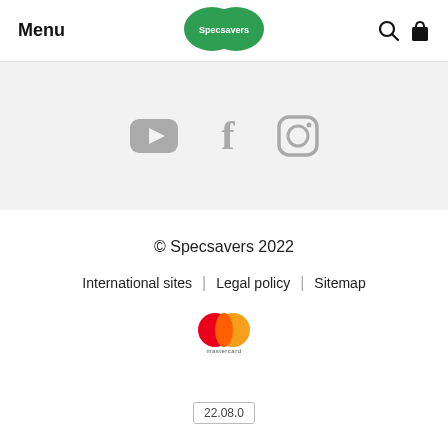Menu | Specsavers (logo) | Search | Cart
[Figure (logo): Specsavers green oval logo with white text]
[Figure (infographic): Social media icons: YouTube, Facebook, Instagram in gray on light gray background]
© Specsavers 2022
International sites | Legal policy | Sitemap
[Figure (logo): Mastercard payment logo with red and orange overlapping circles]
22.08.0